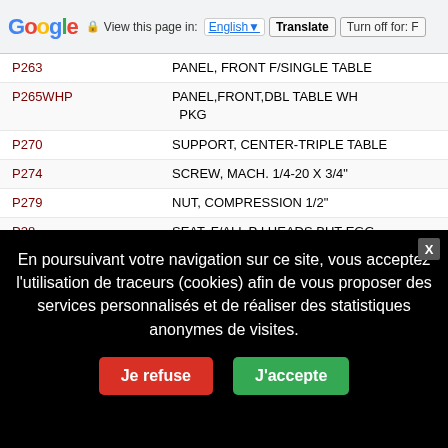Google | View this page in: English | Translate | Turn off for: F
| Code | Description |
| --- | --- |
| P263 | PANEL, FRONT F/SINGLE TABLE |
| P265WHP | PANEL,FRONT,DBL TABLE WH PKG |
| P270 | SUPPORT, CENTER-TRIPLE TABLE |
| P274 | SCREW, MACH. 1/4-20 X 3/4" |
| P279 | NUT, COMPRESSION 1/2" |
| P28 | SEAT, F/ALL P I HEADS BUT EGG |
| P282 | BASE, F/STEAM ONLY FLANGE |
| P285 | PANEL, FRONT |
| P289 | PLUG, ALUMINUM |
| P29 | SCREW,CAP W/NUT (PARTS) |
| P298 | JACKET, F/MODELS W/VAC & STM |
En poursuivant votre navigation sur ce site, vous acceptez l'utilisation de traceurs (cookies) afin de vous proposer des services personnalisés et de réaliser des statistiques anonymes de visites.
Je refuse | J'accepte